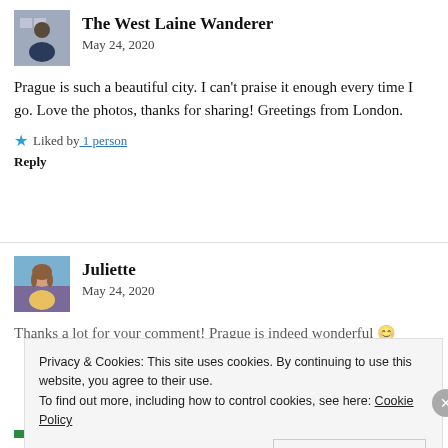[Figure (photo): Avatar photo of The West Laine Wanderer, a person in a navy sweater]
The West Laine Wanderer
May 24, 2020
Prague is such a beautiful city. I can't praise it enough every time I go. Love the photos, thanks for sharing! Greetings from London.
★ Liked by 1 person
Reply
[Figure (photo): Avatar photo of Juliette, a woman with long hair in a floral top]
Juliette
May 24, 2020
Thanks a lot for your comment! Prague is indeed wonderful 😊
Privacy & Cookies: This site uses cookies. By continuing to use this website, you agree to their use.
To find out more, including how to control cookies, see here: Cookie Policy
Close and accept